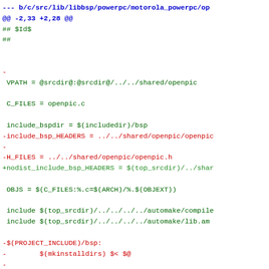[Figure (screenshot): Code diff view showing changes to a Makefile for motorola powerpc bsp openpic, with blue header lines, red removed lines, and green added lines in monospace font.]